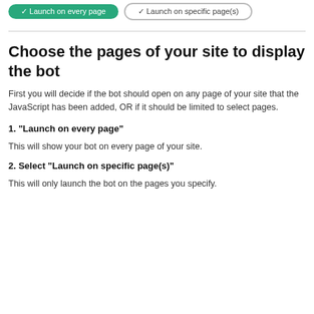[Figure (other): Two UI buttons at the top: a filled green 'Launch on every page' button and an outlined 'Launch on specific page(s)' button]
Choose the pages of your site to display the bot
First you will decide if the bot should open on any page of your site that the JavaScript has been added, OR if it should be limited to select pages.
1. "Launch on every page"
This will show your bot on every page of your site.
2. Select "Launch on specific page(s)"
This will only launch the bot on the pages you specify.